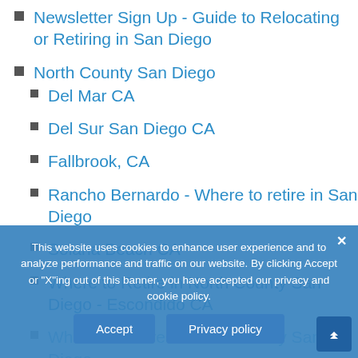Newsletter Sign Up - Guide to Relocating or Retiring in San Diego
North County San Diego
Del Mar CA
Del Sur San Diego CA
Fallbrook, CA
Rancho Bernardo - Where to retire in San Diego
Solana Beach CA
Where to Retire in North County San Diego - Escondido CA
Where to Retire in North County San Diego -
Where to Retire in North County San Diego - Oceanside CA
Where to Retire in North County San Diego - San Marcos CA
This website uses cookies to enhance user experience and to analyze performance and traffic on our website. By clicking Accept or "X"ing out of this banner, you have accepted our privacy and cookie policy.